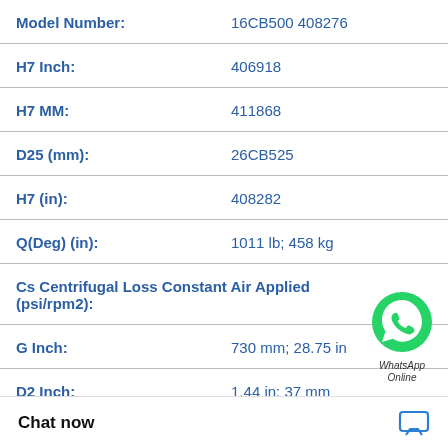| Attribute | Value |
| --- | --- |
| Model Number: | 16CB500 408276 |
| H7 Inch: | 406918 |
| H7 MM: | 411868 |
| D25 (mm): | 26CB525 |
| H7 (in): | 408282 |
| Q(Deg) (in): | 1011 lb; 458 kg |
| Cs Centrifugal Loss Constant Air Applied (psi/rpm2): |  |
| G Inch: | 730 mm; 28.75 in |
| D2 Inch: | 1.44 in; 37 mm |
Chat now